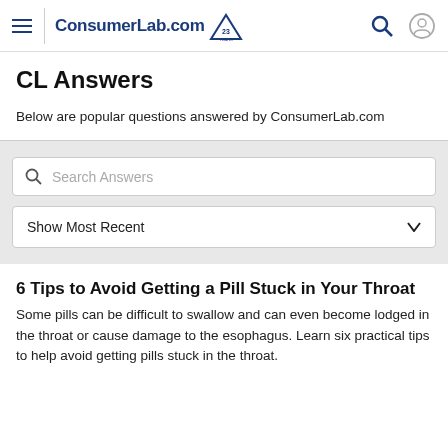ConsumerLab.com — 23 Years
CL Answers
Below are popular questions answered by ConsumerLab.com
Search Answers
Show Most Recent
6 Tips to Avoid Getting a Pill Stuck in Your Throat
Some pills can be difficult to swallow and can even become lodged in the throat or cause damage to the esophagus. Learn six practical tips to help avoid getting pills stuck in the throat.